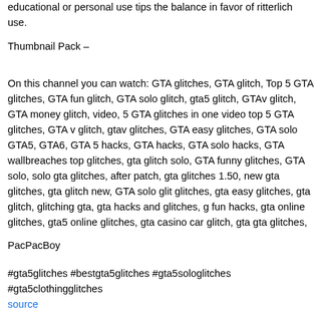educational or personal use tips the balance in favor of ritterlich use.
Thumbnail Pack –
On this channel you can watch: GTA glitches, GTA glitch, Top 5 GTA glitches, GTA fun glitch, GTA solo glitch, gta5 glitch, GTAv glitch, GTA money glitch, video, 5 GTA glitches in one video top 5 GTA glitches, GTA v glitch, gtav glitches, GTA easy glitches, GTA solo GTA5, GTA6, GTA 5 hacks, GTA hacks, GTA solo hacks, GTA wallbreaches top glitches, gta glitch solo, GTA funny glitches, GTA solo, solo gta glitches, after patch, gta glitches 1.50, new gta glitches, gta glitch new, GTA solo glitches, gta easy glitches, gta glitch, glitching gta, gta hacks and glitches, gta fun hacks, gta online glitches, gta5 online glitches, gta casino car glitch, gta gta glitches, top 20 GTA glitches, top 10 gta glitches, top 3 gta glitches, con glitches, gta modded outfit glitches, gta clothes glitches, gta modded clothing
PacPacBoy
#gta5glitches #bestgta5glitches #gta5sologlitches #gta5clothingglitches
source